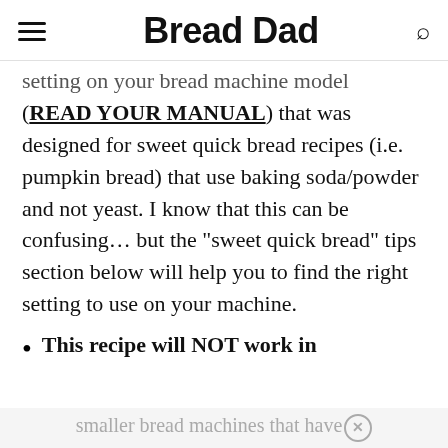Bread Dad
setting on your bread machine model (READ YOUR MANUAL) that was designed for sweet quick bread recipes (i.e. pumpkin bread) that use baking soda/powder and not yeast. I know that this can be confusing... but the “sweet quick bread” tips section below will help you to find the right setting to use on your machine.
This recipe will NOT work in
smaller bread machines that have